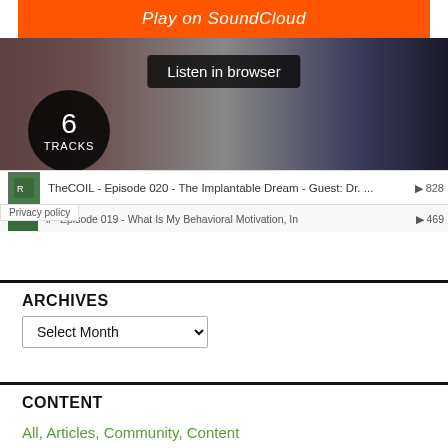[Figure (screenshot): SoundCloud embedded player widget showing orange Play on SoundCloud button, Listen in browser button, 6 TRACKS circle badge, background photo, and track listing for TheCOIL - Episode 020 - The Implantable Dream - Guest: Dr. ... with play count 828, and partial second track row.]
Privacy policy
ARCHIVES
Select Month
CONTENT
All, Articles, Community, Content